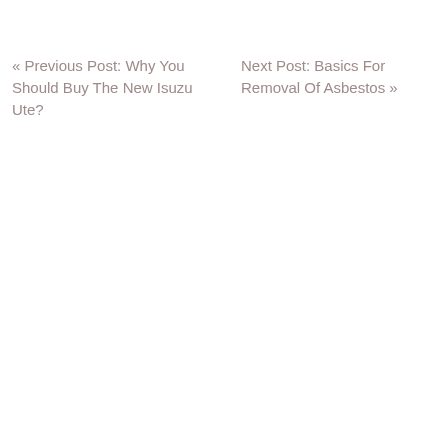« Previous Post: Why You Should Buy The New Isuzu Ute?
Next Post: Basics For Removal Of Asbestos »